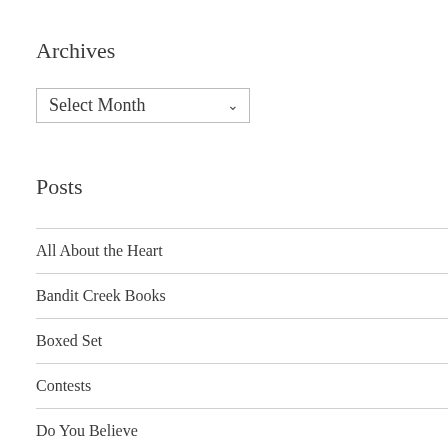Archives
Select Month
Posts
All About the Heart
Bandit Creek Books
Boxed Set
Contests
Do You Believe
Dragon Curse Chronicles
Fantasy